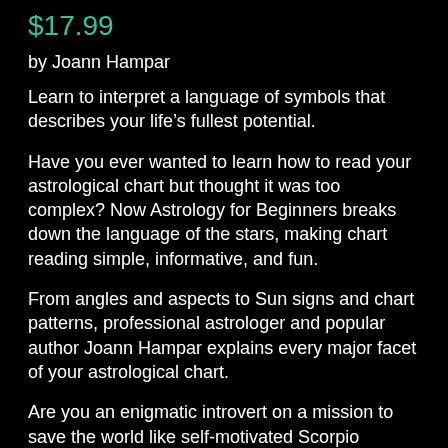$17.99
by Joann Hampar
Learn to interpret a language of symbols that describes your life’s fullest potential.
Have you ever wanted to learn how to read your astrological chart but thought it was too complex? Now Astrology for Beginners breaks down the language of the stars, making chart reading simple, informative, and fun.
From angles and aspects to Sun signs and chart patterns, professional astrologer and popular author Joann Hampar explains every major facet of your astrological chart.
Are you an enigmatic introvert on a mission to save the world like self-motivated Scorpio Leonardo